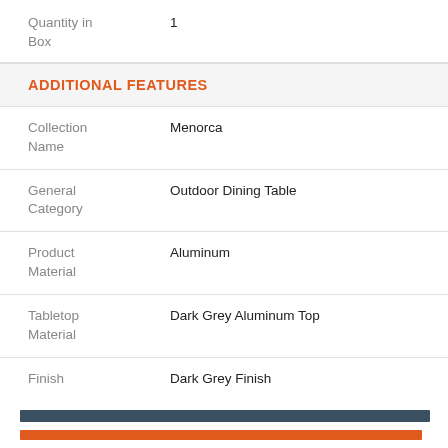| Quantity in Box | 1 |
| Collection Name | Menorca |
| General Category | Outdoor Dining Table |
| Product Material | Aluminum |
| Tabletop Material | Dark Grey Aluminum Top |
| Finish | Dark Grey Finish |
ADDITIONAL FEATURES